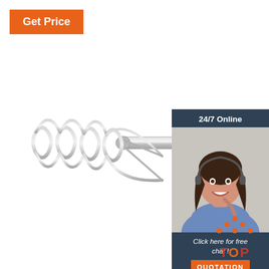[Figure (illustration): Orange 'Get Price' button in the top-left corner]
[Figure (photo): A stainless steel coil whisk/mixer tool with a spiral wire head and long metal handle, photographed on white background]
[Figure (infographic): 24/7 Online customer service box with dark blue background, photo of smiling female customer service agent wearing headset, 'Click here for free chat!' text, and orange QUOTATION button]
[Figure (illustration): Orange and red TOP button with dot pattern forming an upward arrow shape above the word TOP]